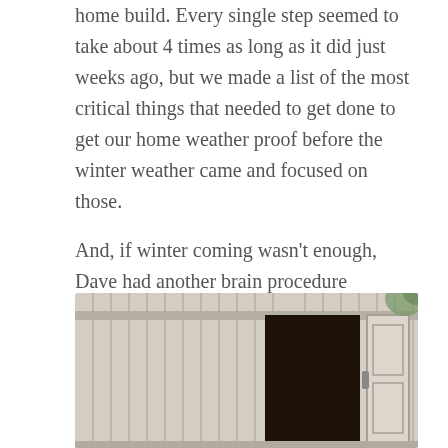home build. Every single step seemed to take about 4 times as long as it did just weeks ago, but we made a list of the most critical things that needed to get done to get our home weather proof before the winter weather came and focused on those.
And, if winter coming wasn't enough, Dave had another brain procedure scheduled for mid October. The push was on, but in the middle of all the work, we stopped to have family pictures with our kiddos who had been so helpful during our build. We couldn't have done it without them 🙂
[Figure (photo): Exterior photo of a container home build showing corrugated metal walls in a light beige/tan color with a dark open doorway in the center and a white panel door to the right, with some foliage visible in the upper right corner.]